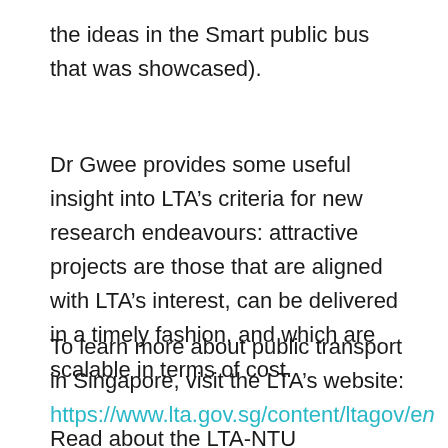the ideas in the Smart public bus that was showcased).
Dr Gwee provides some useful insight into LTA's criteria for new research endeavours: attractive projects are those that are aligned with LTA's interest, can be delivered in a timely fashion, and which are scalable in terms of cost.
To learn more about public transport in Singapore, visit the LTA's website: https://www.lta.gov.sg/content/ltagov/en
Read about the LTA-NTU collaboration